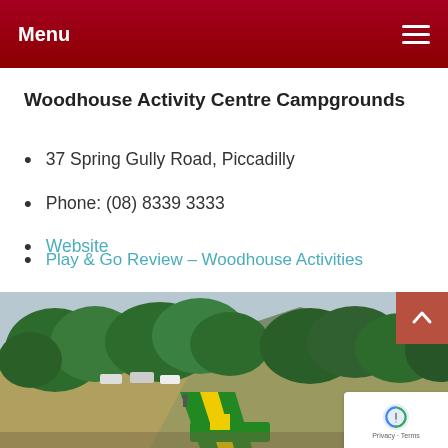Menu
Woodhouse Activity Centre Campgrounds
37 Spring Gully Road, Piccadilly
Phone: (08) 8339 3333
Website
Play & Go Review – Woodhouse Activities
[Figure (photo): Outdoor photo of Woodhouse Activity Centre showing green trees, grassy hillside, a toboggan run with yellow and green tracks, parked cars in background, and hills/mountains behind under an overcast sky.]